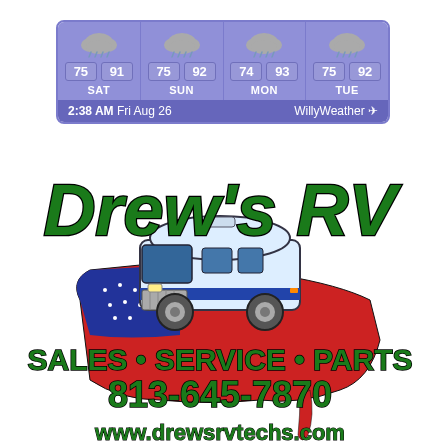[Figure (screenshot): Weather widget showing 4-day forecast: SAT 75/91, SUN 75/92, MON 74/93, TUE 75/92. All days show rain/cloud icons. Footer shows 2:38 AM Fri Aug 26 and WillyWeather branding.]
[Figure (logo): Drew's RV logo featuring large green italic text 'Drew's RV', a cartoon motorhome, USA map outline in red/white/blue, and text: SALES • SERVICE • PARTS, 813-645-7870, www.drewsrvtechs.com]